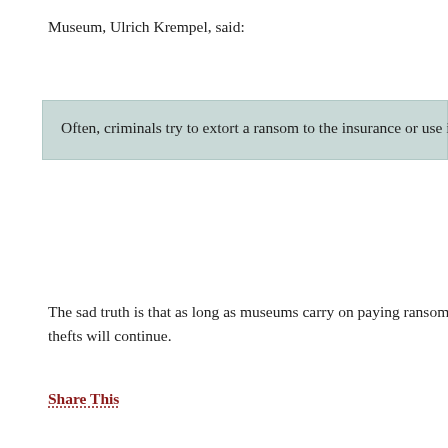Museum, Ulrich Krempel, said:
Often, criminals try to extort a ransom to the insurance or use images as collateral in dr...
The sad truth is that as long as museums carry on paying ransoms (or 'fees for informatio... thefts will continue.
Share This